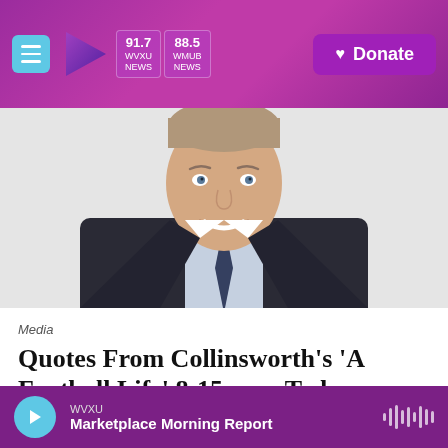WVXU 91.7 NEWS | WMUB 88.5 NEWS | Donate
[Figure (photo): Professional headshot of a middle-aged man in a dark suit and striped tie, smiling at the camera against a light gray background]
Media
Quotes From Collinsworth's 'A Football Life' 8:15 p.m. Today
WVXU — Marketplace Morning Report